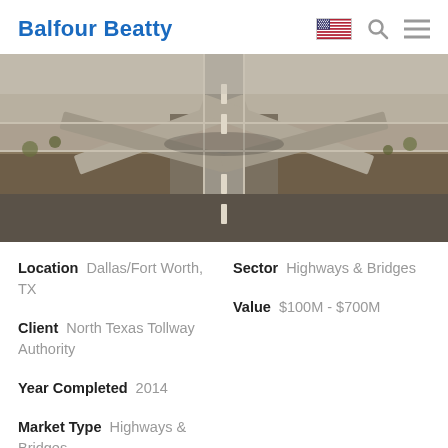Balfour Beatty
[Figure (photo): Aerial view of a large highway interchange in Dallas/Fort Worth, TX showing multiple elevated ramps and roads crossing over each other, with brown terrain and sparse vegetation visible below.]
Location  Dallas/Fort Worth, TX
Sector  Highways & Bridges
Client  North Texas Tollway Authority
Value  $100M - $700M
Year Completed  2014
Market Type  Highways & Bridges